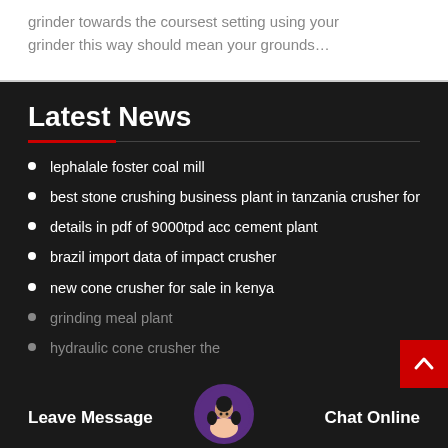grinder towards the coursest setting using your grinder this way should mean your grounds…
Latest News
lephalale foster coal mill
best stone crushing business plant in tanzania crusher for
details in pdf of 9000tpd acc cement plant
brazil import data of impact crusher
new cone crusher for sale in kenya
grinding meal plant
hydraulic cone crusher the
Leave Message
Chat Online